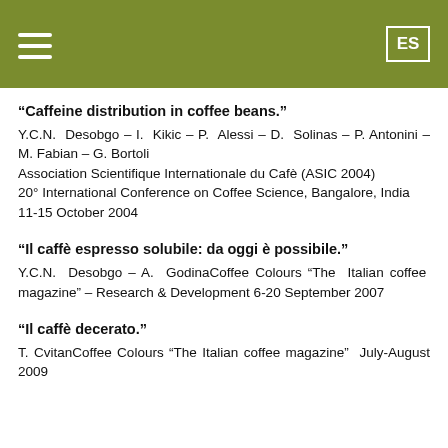ES
“Caffeine distribution in coffee beans.”
Y.C.N. Desobgo – I. Kikic – P. Alessi – D. Solinas – P. Antonini – M. Fabian – G. Bortoli
Association Scientifique Internationale du Cafè (ASIC 2004)
20° International Conference on Coffee Science, Bangalore, India
11-15 October 2004
“Il caffè espresso solubile: da oggi è possibile.”
Y.C.N. Desobgo – A. GodinaCoffee Colours “The Italian coffee magazine” – Research & Development 6-20 September 2007
“Il caffè decerato.”
T. CvitanCoffee Colours “The Italian coffee magazine” July-August 2009